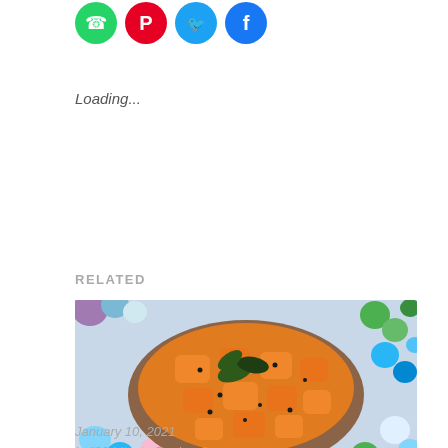[Figure (infographic): Social media share buttons: WhatsApp (green circle), Pinterest (red circle), Twitter (blue circle), Facebook (blue circle)]
Loading...
RELATED
[Figure (photo): A bowl of Gummadi kaaya Koora (Pumpkin Curry) surrounded by colorful decorative glass beads in blue, green, and other colors. The curry is orange-colored with black mustard seeds and curry leaves on top.]
Gummadi kaaya Koora | Pumpkin Curry – Sankranthi Gummadi Koora
January 10, 2021
In "30 Minute Recipes"